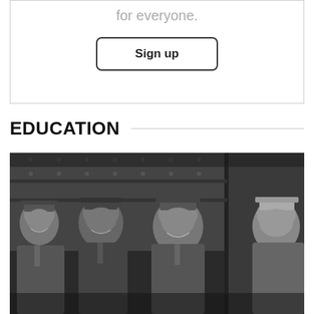for everyone.
Sign up
EDUCATION
[Figure (photo): Black and white photograph of four men wearing uniform caps, appearing to be conductors or transit workers, standing together and smiling, photographed in front of a riveted metal surface.]